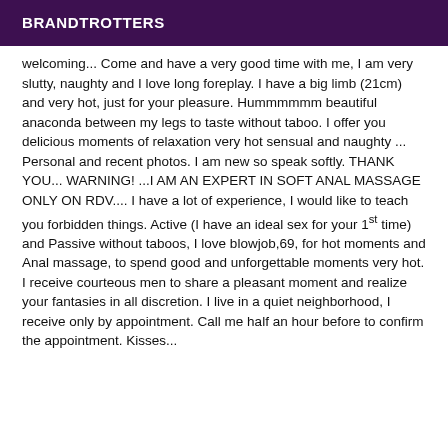BRANDTROTTERS
welcoming... Come and have a very good time with me, I am very slutty, naughty and I love long foreplay. I have a big limb (21cm) and very hot, just for your pleasure. Hummmmmm beautiful anaconda between my legs to taste without taboo. I offer you delicious moments of relaxation very hot sensual and naughty ... Personal and recent photos. I am new so speak softly. THANK YOU... WARNING! ...I AM AN EXPERT IN SOFT ANAL MASSAGE ONLY ON RDV.... I have a lot of experience, I would like to teach you forbidden things. Active (I have an ideal sex for your 1st time) and Passive without taboos, I love blowjob,69, for hot moments and Anal massage, to spend good and unforgettable moments very hot. I receive courteous men to share a pleasant moment and realize your fantasies in all discretion. I live in a quiet neighborhood, I receive only by appointment. Call me half an hour before to confirm the appointment. Kisses...